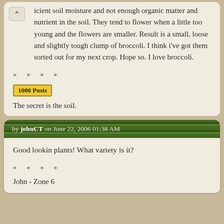icient soil moisture and not enough organic matter and nutrient in the soil. They tend to flower when a little too young and the flowers are smaller. Result is a small, loose and slightly tough clump of broccoli. I think i've got them sorted out for my next crop. Hope so. I love broccoli.
* * * *
[Figure (other): 1000 Posts badge - yellow rectangle with border]
The secret is the soil.
by johnCT on June 22, 2006 01:38 AM
Good lookin plants! What variety is it?
* * * *
John - Zone 6